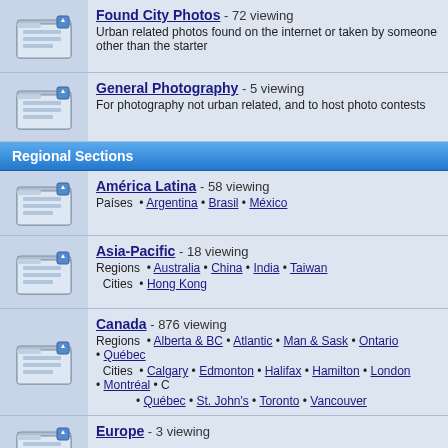Found City Photos - 72 viewing
Urban related photos found on the internet or taken by someone other than the starter
General Photography - 5 viewing
For photography not urban related, and to host photo contests
Regional Sections
América Latina - 58 viewing
Países • Argentina • Brasil • México
Asia-Pacific - 18 viewing
Regions • Australia • China • India • Taiwan
Cities • Hong Kong
Canada - 876 viewing
Regions • Alberta & BC • Atlantic • Man & Sask • Ontario • Québec
Cities • Calgary • Edmonton • Halifax • Hamilton • London • Montréal • C
• Québec • St. John's • Toronto • Vancouver
Europe - 3 viewing
Middle East & Africa - 2 viewing
United States - 387 viewing
Regions • Midwest • Mountain West • Northeast • Pacific West • Southea...